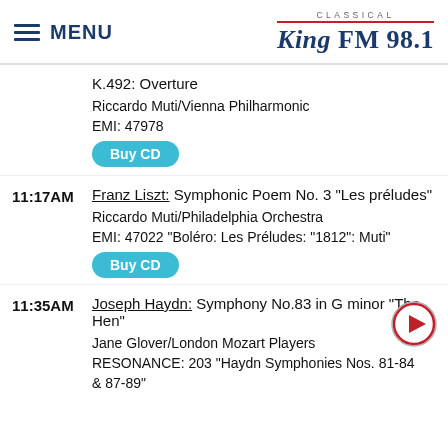MENU | CLASSICAL KING FM 98.1
K.492: Overture
Riccardo Muti/Vienna Philharmonic
EMI: 47978
Buy CD
11:17AM Franz Liszt: Symphonic Poem No. 3 "Les préludes" — Riccardo Muti/Philadelphia Orchestra — EMI: 47022 "Boléro: Les Préludes: "1812": Muti"
Buy CD
11:35AM Joseph Haydn: Symphony No.83 in G minor "The Hen" — Jane Glover/London Mozart Players — RESONANCE: 203 "Haydn Symphonies Nos. [81-]84 & 87-89"